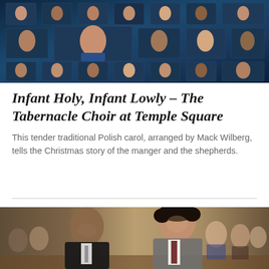[Figure (photo): A virtual choir performance showing many singers arranged in a grid on a dark blue digital background, with a prominent female soloist in the center front and rows of choir members in formal attire filling the frame.]
Infant Holy, Infant Lowly – The Tabernacle Choir at Temple Square
This tender traditional Polish carol, arranged by Mack Wilberg, tells the Christmas story of the manger and the shepherds.
[Figure (photo): Two young men in suits sitting in a church congregation, smiling and looking upward with reverence. One man on the left is Black wearing a dark suit, and the man on the right has curly hair and is wearing a grey suit with a dark red tie. Many other congregation members are visible in the background.]